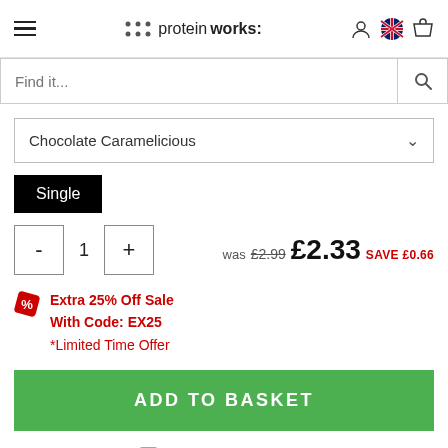protein works: (logo with hamburger menu, user icon, UK flag, basket icon)
Find it...
Chocolate Caramelicious
Single
- 1 +  was £2.99  £2.33  SAVE £0.66
Extra 25% Off Sale
With Code: EX25
*Limited Time Offer
ADD TO BASKET
WANT IT 27 AUG?
Order within 7h 44m 51s and it'll leave us today!